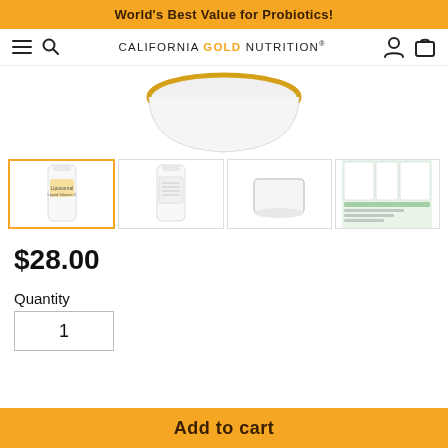World's Best Value for Probiotics!
[Figure (logo): California Gold Nutrition logo with hamburger menu, search icon, user icon, and cart icon in navigation bar]
[Figure (photo): Main product image: white bottle of liposomal liquid Vitamin C on white background]
[Figure (photo): Thumbnail 1 (active, gold border): front view of white liposomal vitamin C bottle]
[Figure (photo): Thumbnail 2: back/label view of white liposomal vitamin C bottle]
[Figure (photo): Thumbnail 3: empty white container/lid]
[Figure (photo): Thumbnail 4: promotional graphic with multiple product images and text]
$28.00
Quantity
1
Add to cart